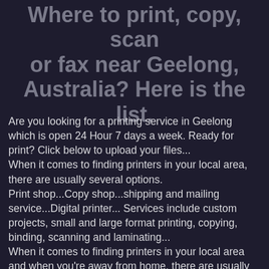Where to print, copy, scan or fax near Geelong, Australia? Here is the list.
Are you looking for a printing service in Geelong which is open 24 Hour 7 days a week. Ready for print? Click below to upload your files...
When it comes to finding printers in your local area, there are usually several options.
Print shop...Copy shop...shipping and mailing service...Digital printer... Services include custom projects, small and large format printing, copying, binding, scanning and laminating...
When it comes to finding printers in your local area and when you're away from home, there are usually several options. Print documents for businesses, individuals, students and more...
⇓ Print from Phone. Print from Tablet. Print from Laptop.